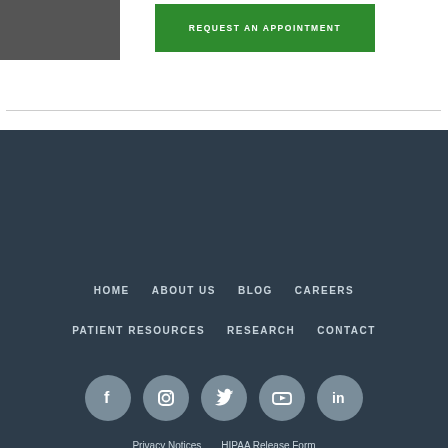[Figure (photo): Partial photo of a person in professional attire (doctor/staff)]
REQUEST AN APPOINTMENT
[Figure (infographic): Footer navigation with social media icons (Facebook, Instagram, Twitter, YouTube, LinkedIn), nav links HOME, ABOUT US, BLOG, CAREERS, PATIENT RESOURCES, RESEARCH, CONTACT, Privacy Notices, HIPAA Release Form, Saltzer Health and Intermountain Healthcare logos]
HOME   ABOUT US   BLOG   CAREERS
PATIENT RESOURCES   RESEARCH   CONTACT
Privacy Notices   HIPAA Release Form